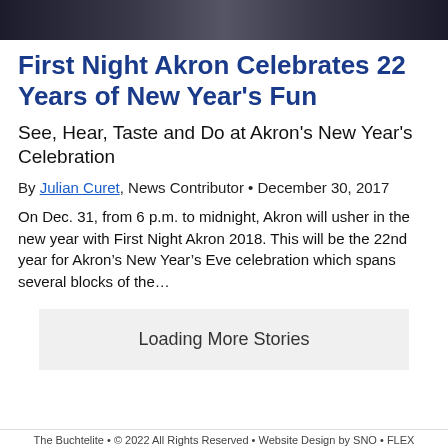[Figure (photo): Cropped photo banner of people at an outdoor event, dark winter clothing]
First Night Akron Celebrates 22 Years of New Year's Fun
See, Hear, Taste and Do at Akron's New Year's Celebration
By Julian Curet, News Contributor • December 30, 2017
On Dec. 31, from 6 p.m. to midnight, Akron will usher in the new year with First Night Akron 2018. This will be the 22nd year for Akron's New Year's Eve celebration which spans several blocks of the…
Loading More Stories
The Buchtelite • © 2022 All Rights Reserved • Website Design by SNO • FLEX